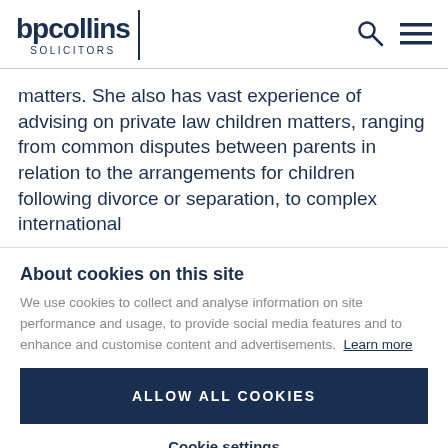bpcollins SOLICITORS
matters. She also has vast experience of advising on private law children matters, ranging from common disputes between parents in relation to the arrangements for children following divorce or separation, to complex international
About cookies on this site
We use cookies to collect and analyse information on site performance and usage, to provide social media features and to enhance and customise content and advertisements. Learn more
ALLOW ALL COOKIES
Cookie settings